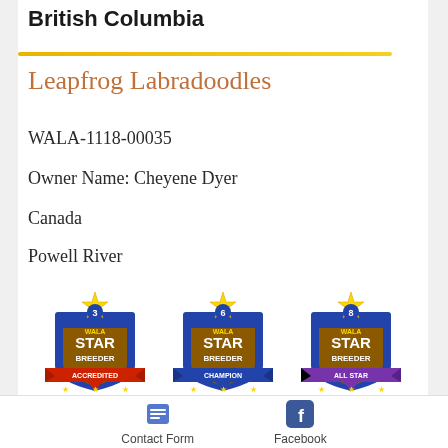British Columbia
Leapfrog Labradoodles
WALA-1118-00035
Owner Name: Cheyene Dyer
Canada
Powell River
[Figure (illustration): Three WALA Star Breeder badges: Accredited (3 stars), Champion (6 stars), All Star (8 stars)]
Contact Form
Facebook